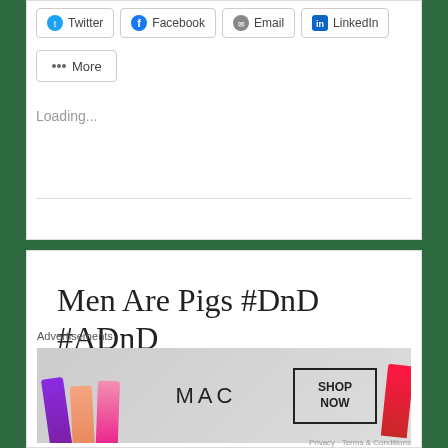Twitter | Facebook | Email | LinkedIn
More
Loading...
Men Are Pigs #DnD #ADnD #gaming #TTRPG
Advertisements
[Figure (photo): MAC cosmetics advertisement showing lipsticks in purple, peach, pink, and red colors with MAC logo and SHOP NOW button]